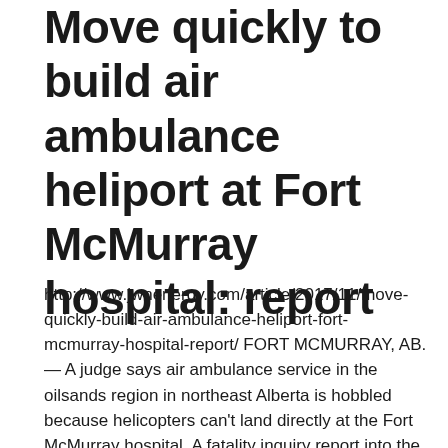Move quickly to build air ambulance heliport at Fort McMurray hospital: report
http://www.jwnenergy.com/article/2017/11/move-quickly-build-air-ambulance-heliport-fort-mcmurray-hospital-report/ FORT MCMURRAY, AB. — A judge says air ambulance service in the oilsands region in northeast Alberta is hobbled because helicopters can't land directly at the Fort McMurray hospital. A fatality inquiry report into the 2007 death of an oilsands worker recommends government officials …